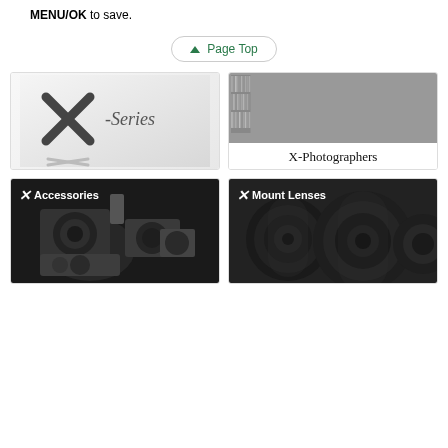MENU/OK to save.
Page Top
[Figure (logo): X-Series logo card with stylized X and -Series text on light gradient background]
[Figure (photo): X-Photographers card with grid of black and white portrait photos and X-Photographers text]
[Figure (photo): Accessories dark card with camera accessories photo and X Accessories label]
[Figure (photo): Mount Lenses dark card with camera lenses photo and X Mount Lenses label]